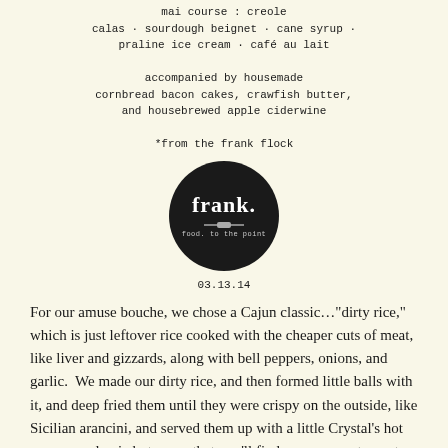mai course : creole
calas · sourdough beignet · cane syrup ·
praline ice cream · café au lait

accompanied by housemade
cornbread bacon cakes, crawfish butter,
and housebrewed apple ciderwine

*from the frank flock
[Figure (logo): Frank restaurant logo: black circle with 'frank.' in white serif font, a fork icon, and tagline 'food. to the point']
03.13.14
For our amuse bouche, we chose a Cajun classic…"dirty rice," which is just leftover rice cooked with the cheaper cuts of meat, like liver and gizzards, along with bell peppers, onions, and garlic.  We made our dirty rice, and then formed little balls with it, and deep fried them until they were crispy on the outside, like Sicilian arancini, and served them up with a little Crystal's hot sauce…a classic hot sauce that you'll find on every restaurant table in Louisiana, from humble diner to elegant bistro — but rarely outside that state…